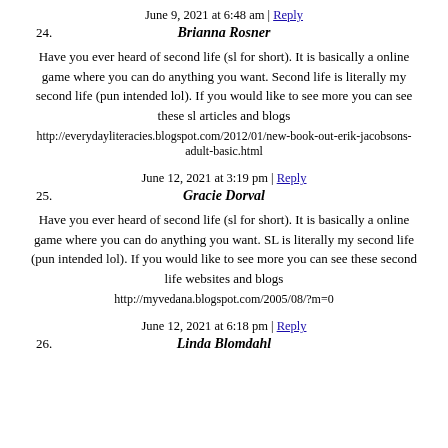June 9, 2021 at 6:48 am | Reply
24. Brianna Rosner
Have you ever heard of second life (sl for short). It is basically a online game where you can do anything you want. Second life is literally my second life (pun intended lol). If you would like to see more you can see these sl articles and blogs
http://everydayliteracies.blogspot.com/2012/01/new-book-out-erik-jacobsons-adult-basic.html
June 12, 2021 at 3:19 pm | Reply
25. Gracie Dorval
Have you ever heard of second life (sl for short). It is basically a online game where you can do anything you want. SL is literally my second life (pun intended lol). If you would like to see more you can see these second life websites and blogs
http://myvedana.blogspot.com/2005/08/?m=0
June 12, 2021 at 6:18 pm | Reply
26. Linda Blomdahl